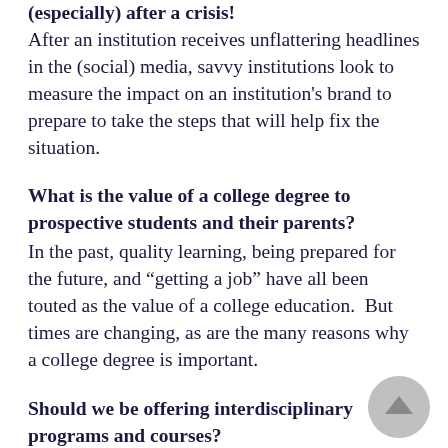(especially) after a crisis! After an institution receives unflattering headlines in the (social) media, savvy institutions look to measure the impact on an institution's brand to prepare to take the steps that will help fix the situation.
What is the value of a college degree to prospective students and their parents?
In the past, quality learning, being prepared for the future, and “getting a job” have all been touted as the value of a college education.  But times are changing, as are the many reasons why a college degree is important.
Should we be offering interdisciplinary programs and courses?
As consultants, we just want to emphatically say “yes”!  But, the value of research is to